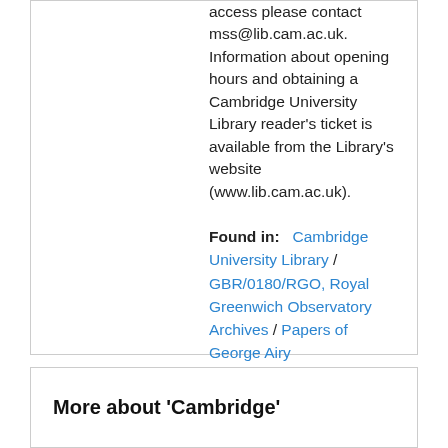access please contact mss@lib.cam.ac.uk. Information about opening hours and obtaining a Cambridge University Library reader's ticket is available from the Library's website (www.lib.cam.ac.uk).
Found in:  Cambridge University Library / GBR/0180/RGO, Royal Greenwich Observatory Archives / Papers of George Airy
More about 'Cambridge'
Subject Term Type